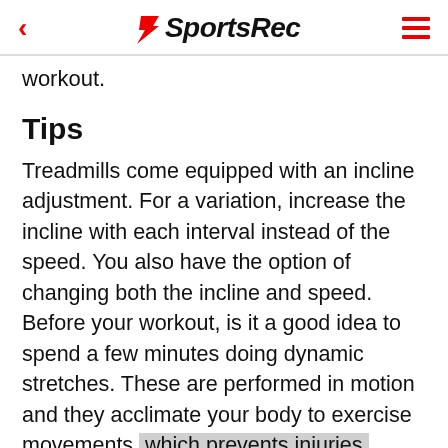< SportsRec ≡
workout.
Tips
Treadmills come equipped with an incline adjustment. For a variation, increase the incline with each interval instead of the speed. You also have the option of changing both the incline and speed. Before your workout, is it a good idea to spend a few minutes doing dynamic stretches. These are performed in motion and they acclimate your body to exercise movements, which prevents injuries. Perform stretches like leg swings, knee high raises, lateral lunges, alternating toe touches, ankle bounces and forward bends. During